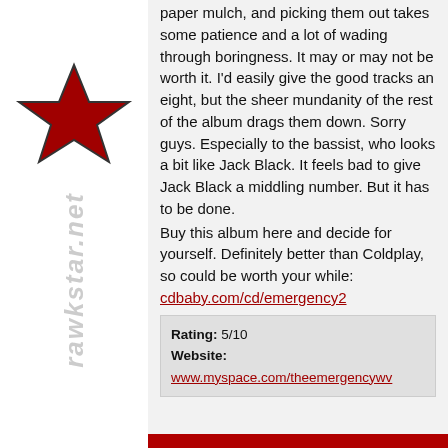[Figure (logo): Red star logo for rawkstar.net website]
paper mulch, and picking them out takes some patience and a lot of wading through boringness. It may or may not be worth it. I'd easily give the good tracks an eight, but the sheer mundanity of the rest of the album drags them down. Sorry guys. Especially to the bassist, who looks a bit like Jack Black. It feels bad to give Jack Black a middling number. But it has to be done.

Buy this album here and decide for yourself. Definitely better than Coldplay, so could be worth your while:
cdbaby.com/cd/emergency2
Rating: 5/10
Website:
www.myspace.com/theemergencywv